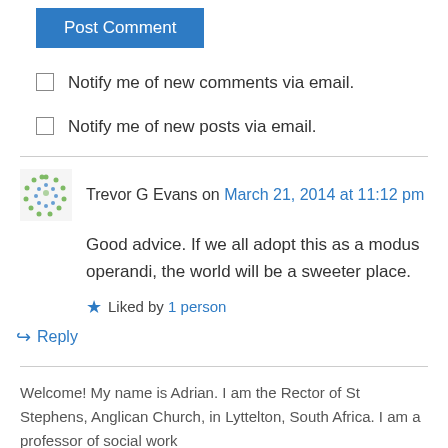Post Comment
Notify me of new comments via email.
Notify me of new posts via email.
Trevor G Evans on March 21, 2014 at 11:12 pm
Good advice. If we all adopt this as a modus operandi, the world will be a sweeter place.
Liked by 1 person
Reply
Welcome! My name is Adrian. I am the Rector of St Stephens, Anglican Church, in Lyttelton, South Africa. I am a professor of social work